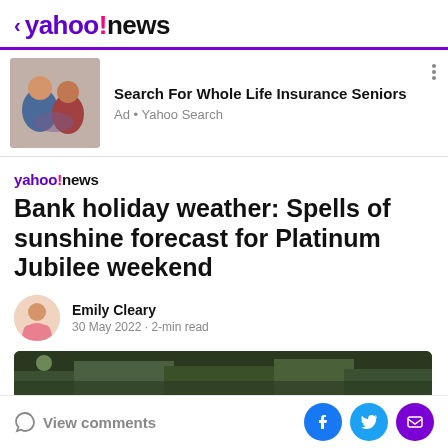< yahoo!news
[Figure (screenshot): Advertisement banner: couple photo with text 'Search For Whole Life Insurance Seniors' — Ad • Yahoo Search]
yahoo!news
Bank holiday weather: Spells of sunshine forecast for Platinum Jubilee weekend
Emily Cleary
30 May 2022 · 2-min read
[Figure (photo): Partial view of an outdoor scene with greenery]
View comments